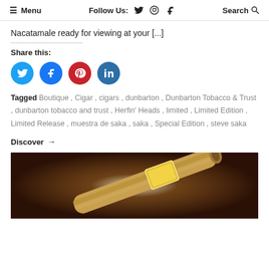≡ Menu   Follow Us: [facebook] [instagram] [twitter]   Search 🔍
Nacatamale ready for viewing at your [...]
Share this:
[Figure (infographic): Four social share buttons: Twitter (light blue circle), Facebook (blue circle), Pinterest (red circle), LinkedIn (teal circle)]
Tagged Boutique , Cigar , cigars , dunbarton , Dunbarton Tobacco & Trust , dunbarton tobacco and trust , Herfin' Heads , limited , Limited Edition , Limited Release , muestra de saka , saka , Special Edition , steve saka
Discover →
[Figure (photo): Close-up photo of a premium cigar with a decorative gold band, set against a dark brown background with a bright light spot in the center.]